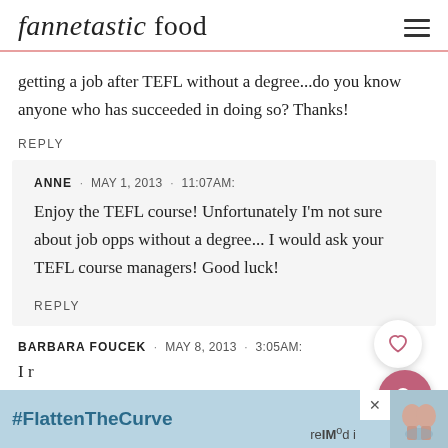fannetastic food
getting a job after TEFL without a degree...do you know anyone who has succeeded in doing so? Thanks!
REPLY
ANNE · MAY 1, 2013 · 11:07AM:
Enjoy the TEFL course! Unfortunately I'm not sure about job opps without a degree... I would ask your TEFL course managers! Good luck!
REPLY
BARBARA FOUCEK · MAY 8, 2013 · 3:05AM:
I r                                             re   d i
[Figure (infographic): Advertisement banner with #FlattenTheCurve text and handwashing image, with close button]